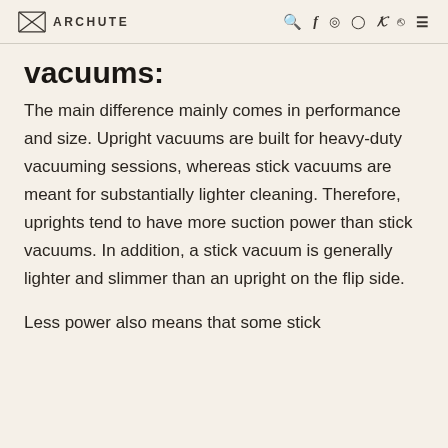ARCHUTE
vacuums:
The main difference mainly comes in performance and size. Upright vacuums are built for heavy-duty vacuuming sessions, whereas stick vacuums are meant for substantially lighter cleaning. Therefore, uprights tend to have more suction power than stick vacuums. In addition, a stick vacuum is generally lighter and slimmer than an upright on the flip side.
Less power also means that some stick